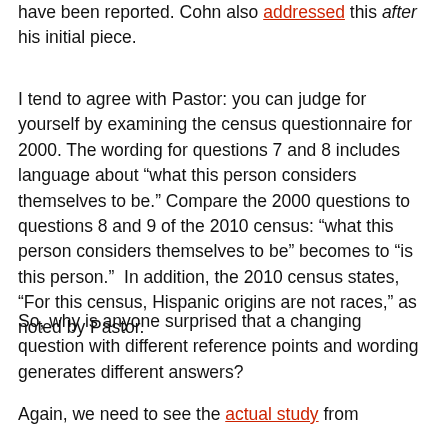have been reported. Cohn also addressed this after his initial piece.
I tend to agree with Pastor: you can judge for yourself by examining the census questionnaire for 2000. The wording for questions 7 and 8 includes language about “what this person considers themselves to be.” Compare the 2000 questions to questions 8 and 9 of the 2010 census: “what this person considers themselves to be” becomes to “is this person.”  In addition, the 2010 census states, “For this census, Hispanic origins are not races,” as noted by Pastor.
So, why is anyone surprised that a changing question with different reference points and wording generates different answers?
Again, we need to see the actual study from the R...